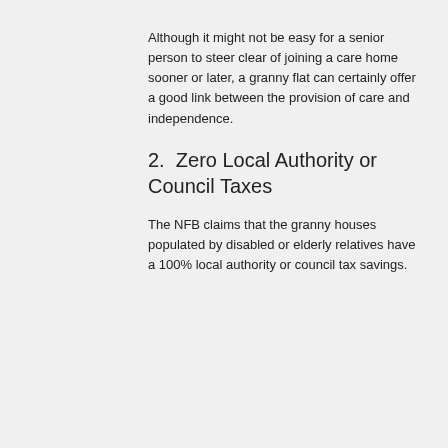Although it might not be easy for a senior person to steer clear of joining a care home sooner or later, a granny flat can certainly offer a good link between the provision of care and independence.
2.  Zero Local Authority or Council Taxes
The NFB claims that the granny houses populated by disabled or elderly relatives have a 100% local authority or council tax savings.